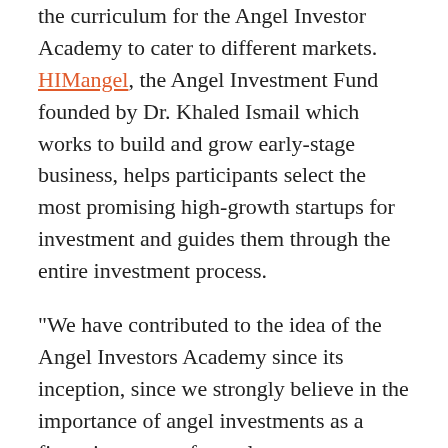the curriculum for the Angel Investor Academy to cater to different markets. HIMangel, the Angel Investment Fund founded by Dr. Khaled Ismail which works to build and grow early-stage business, helps participants select the most promising high-growth startups for investment and guides them through the entire investment process.
“We have contributed to the idea of the Angel Investors Academy since its inception, since we strongly believe in the importance of angel investments as a financing source for early-stage companies. We also believe that becoming a successful angel investor requires certain skills that can be acquired through a hands-on education and training, which is exactly what the Academy is all about,” says Dr. Khalid Ismail, Founder and Managing Partner at HIMangel.
Each participant is required to commit to the entire one-year program. Participants are required to pump